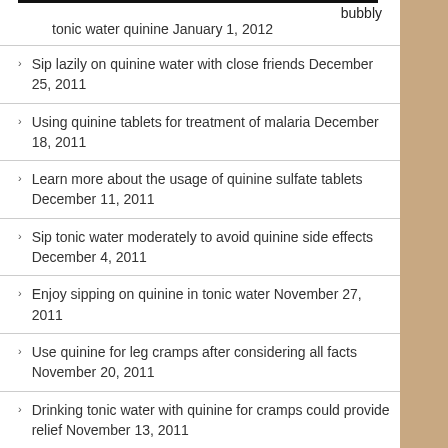bubbly
tonic water quinine January 1, 2012
Sip lazily on quinine water with close friends December 25, 2011
Using quinine tablets for treatment of malaria December 18, 2011
Learn more about the usage of quinine sulfate tablets December 11, 2011
Sip tonic water moderately to avoid quinine side effects December 4, 2011
Enjoy sipping on quinine in tonic water November 27, 2011
Use quinine for leg cramps after considering all facts November 20, 2011
Drinking tonic water with quinine for cramps could provide relief November 13, 2011
Transformation of quinine from miracle drug to tasty tonic water November 6, 2011